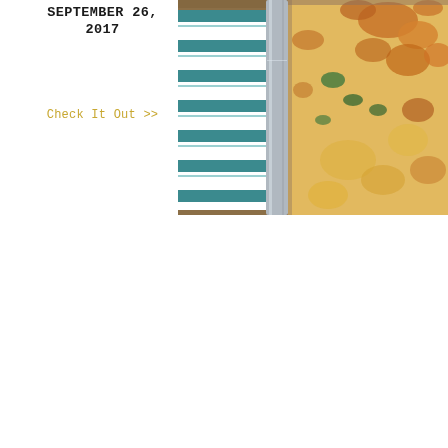SEPTEMBER 26, 2017
Check It Out >>
[Figure (photo): Close-up overhead photo of a baked casserole dish with melted golden-brown cheese over broccoli and other vegetables, with a striped blue and white cloth and a spatula/baking spatula visible beside the dish on a wooden surface.]